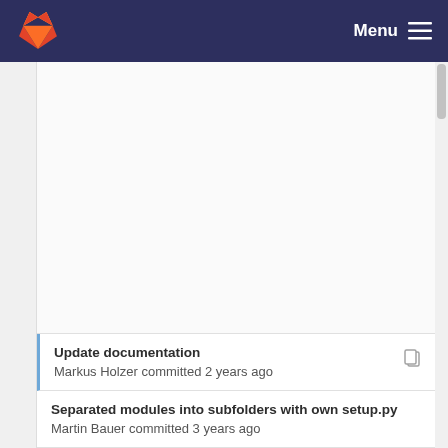Menu
Update documentation
Markus Holzer committed 2 years ago
Separated modules into subfolders with own setup.py
Martin Bauer committed 3 years ago